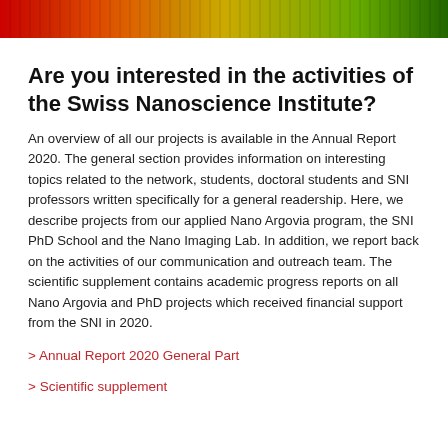[Figure (photo): A colorful spectrum banner image transitioning from red on the left through yellow and orange to green on the right, displayed as a horizontal strip at the top of the page.]
Are you interested in the activities of the Swiss Nanoscience Institute?
An overview of all our projects is available in the Annual Report 2020. The general section provides information on interesting topics related to the network, students, doctoral students and SNI professors written specifically for a general readership. Here, we describe projects from our applied Nano Argovia program, the SNI PhD School and the Nano Imaging Lab. In addition, we report back on the activities of our communication and outreach team. The scientific supplement contains academic progress reports on all Nano Argovia and PhD projects which received financial support from the SNI in 2020.
> Annual Report 2020 General Part
> Scientific supplement